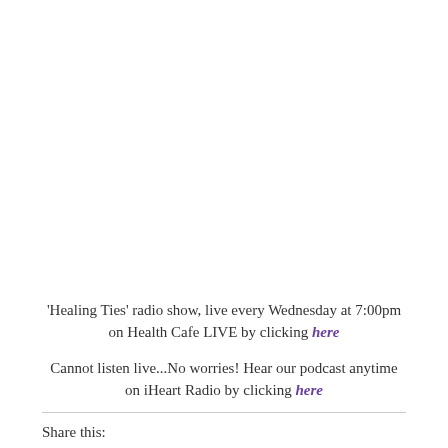'Healing Ties' radio show, live every Wednesday at 7:00pm on Health Cafe LIVE by clicking here
Cannot listen live...No worries!  Hear our podcast anytime on iHeart Radio by clicking here
Share this: